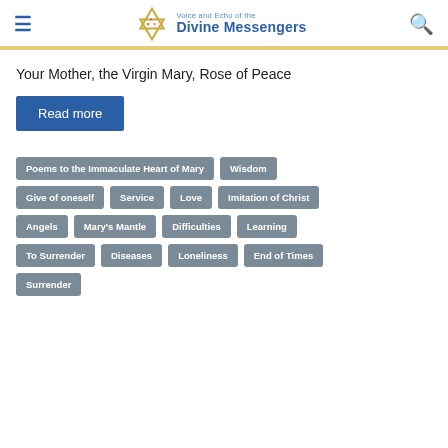Voice and Echo of the Divine Messengers
Your Mother, the Virgin Mary, Rose of Peace
Read more
Poems to the Immaculate Heart of Mary
Wisdom
Give of oneself
Service
Love
Imitation of Christ
Angels
Mary's Mantle
Difficulties
Learning
To Surrender
Diseases
Loneliness
End of Times
Surrender